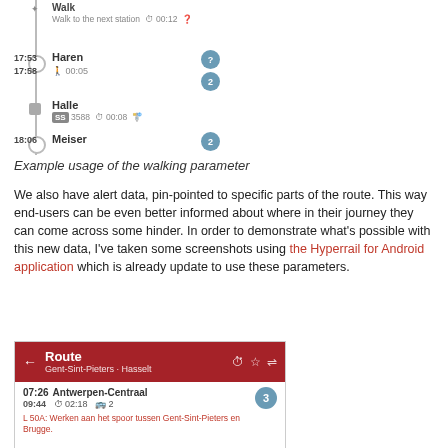[Figure (screenshot): Mobile app screenshot showing a transit route timeline with Walk (Walk to the next station, 00:12), Haren stop at 17:53/17:58 (00:05 duration), Halle bus stop (SS 3588, 00:08), and Meiser stop at 18:06]
Example usage of the walking parameter
We also have alert data, pin-pointed to specific parts of the route. This way end-users can be even better informed about where in their journey they can come across some hinder. In order to demonstrate what’s possible with this new data, I’ve taken some screenshots using the Hyperrail for Android application which is already update to use these parameters.
[Figure (screenshot): Mobile app screenshot showing route from Gent-Sint-Pieters to Hasselt, departure 07:26 arrival 09:44 from Antwerpen-Centraal, with alert: L 50A: Werken aan het spoor tussen Gent-Sint-Pieters en Brugge.]